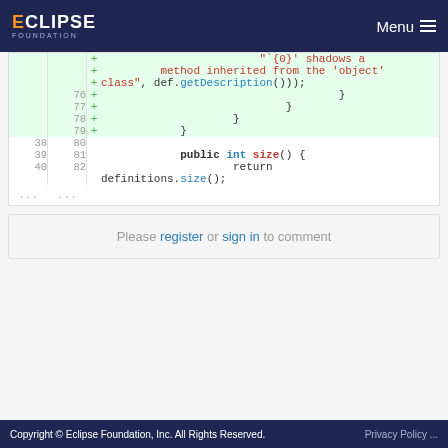Eclipse Foundation Menu
[Figure (screenshot): Code diff viewer showing Java code with added lines (green background). Lines 76-79 show closing braces with '+' markers. Lines 38-40 / 80-82 show public int size() method and return definitions.size(); statement.]
Please register or sign in to comment
Copyright © Eclipse Foundation, Inc. All Rights Reserved. Privacy Policy ...